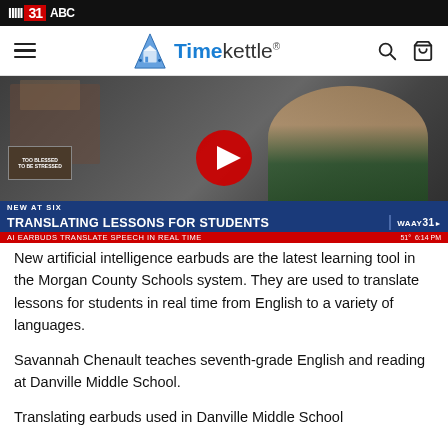WAAY 31 - Timekettle
[Figure (screenshot): Video thumbnail showing a news broadcast. A woman with blonde hair is visible. The news ticker reads 'NEW AT SIX / TRANSLATING LESSONS FOR STUDENTS / AI EARBUDS TRANSLATE SPEECH IN REAL TIME' with WAAY 31 branding. A red YouTube play button overlay is shown in the center.]
New artificial intelligence earbuds are the latest learning tool in the Morgan County Schools system. They are used to translate lessons for students in real time from English to a variety of languages.
Savannah Chenault teaches seventh-grade English and reading at Danville Middle School.
Translating earbuds used in Danville Middle School